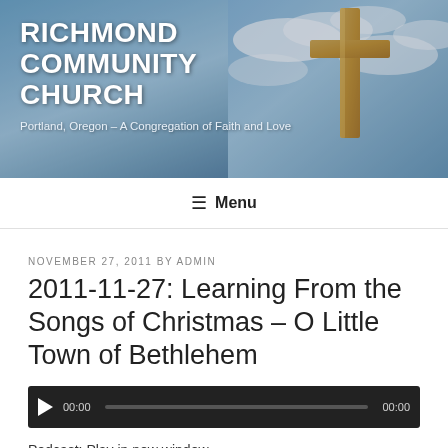[Figure (photo): Banner image with a wooden cross against a blue sky with clouds, overlaid with church name and tagline]
RICHMOND COMMUNITY CHURCH
Portland, Oregon – A Congregation of Faith and Love
≡ Menu
NOVEMBER 27, 2011 BY ADMIN
2011-11-27: Learning From the Songs of Christmas – O Little Town of Bethlehem
[Figure (other): Audio player bar with play button, time display 00:00, progress bar, and end time 00:00]
Podcast: Play in new window